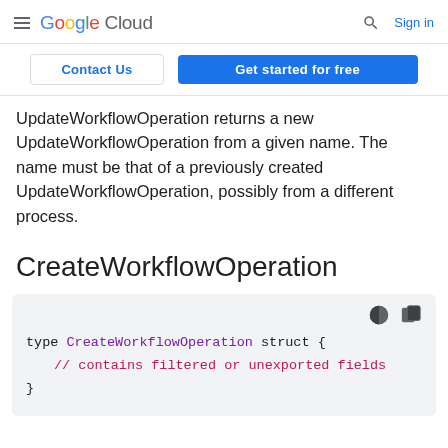Google Cloud  Sign in
Contact Us  Get started for free
UpdateWorkflowOperation returns a new UpdateWorkflowOperation from a given name. The name must be that of a previously created UpdateWorkflowOperation, possibly from a different process.
CreateWorkflowOperation
type CreateWorkflowOperation struct {
    // contains filtered or unexported fields
}